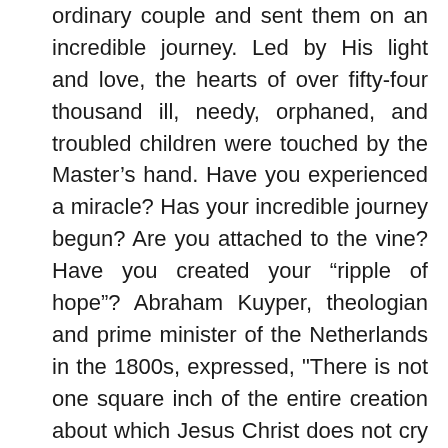ordinary couple and sent them on an incredible journey. Led by His light and love, the hearts of over fifty-four thousand ill, needy, orphaned, and troubled children were touched by the Master's hand. Have you experienced a miracle? Has your incredible journey begun? Are you attached to the vine? Have you created your “ripple of hope”? Abraham Kuyper, theologian and prime minister of the Netherlands in the 1800s, expressed, "There is not one square inch of the entire creation about which Jesus Christ does not cry out, ‘This is mine! This belongs to me!’ God continually recreates the universe through acts of grace.” “One husband-and-wife team has tossed many garlands of grace into the hallowed hospital halls of sick and needy children. Their story compels us to discover our